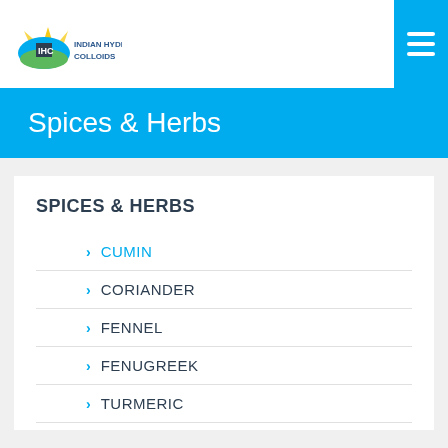INDIAN HYDRO COLLOIDS
Spices & Herbs
SPICES & HERBS
CUMIN
CORIANDER
FENNEL
FENUGREEK
TURMERIC
CARDAMOM